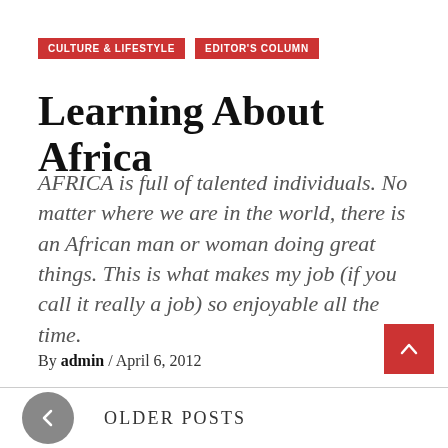CULTURE & LIFESTYLE   EDITOR'S COLUMN
Learning About Africa
AFRICA is full of talented individuals. No matter where we are in the world, there is an African man or woman doing great things. This is what makes my job (if you call it really a job) so enjoyable all the time.
By admin / April 6, 2012
OLDER POSTS